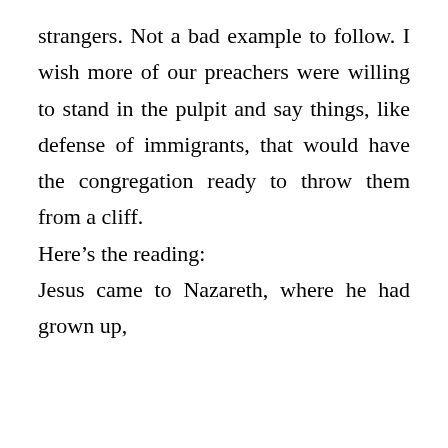strangers. Not a bad example to follow. I wish more of our preachers were willing to stand in the pulpit and say things, like defense of immigrants, that would have the congregation ready to throw them from a cliff.
Here’s the reading:
Jesus came to Nazareth, where he had grown up,